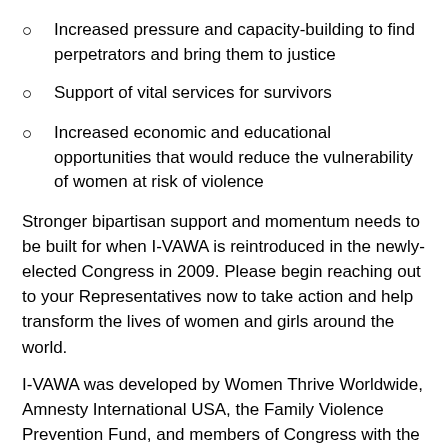Increased pressure and capacity-building to find perpetrators and bring them to justice
Support of vital services for survivors
Increased economic and educational opportunities that would reduce the vulnerability of women at risk of violence
Stronger bipartisan support and momentum needs to be built for when I-VAWA is reintroduced in the newly-elected Congress in 2009. Please begin reaching out to your Representatives now to take action and help transform the lives of women and girls around the world.
I-VAWA was developed by Women Thrive Worldwide, Amnesty International USA, the Family Violence Prevention Fund, and members of Congress with the help of organizational partners. It was drafted in consultation with more than 150 groups, including U.S.-based NGOs such as Tahirih, UN agencies, and 40 or more local groups around the world.